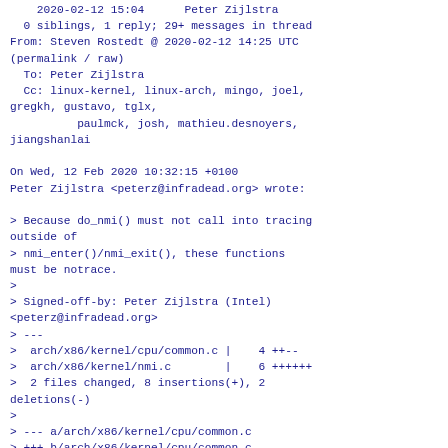2020-02-12 15:04      Peter Zijlstra
  0 siblings, 1 reply; 29+ messages in thread
From: Steven Rostedt @ 2020-02-12 14:25 UTC
(permalink / raw)
  To: Peter Zijlstra
  Cc: linux-kernel, linux-arch, mingo, joel,
gregkh, gustavo, tglx,
          paulmck, josh, mathieu.desnoyers,
jiangshanlai

On Wed, 12 Feb 2020 10:32:15 +0100
Peter Zijlstra <peterz@infradead.org> wrote:

> Because do_nmi() must not call into tracing outside of
> nmi_enter()/nmi_exit(), these functions must be notrace.
>
> Signed-off-by: Peter Zijlstra (Intel)
<peterz@infradead.org>
> ---
>  arch/x86/kernel/cpu/common.c |    4 ++--
>  arch/x86/kernel/nmi.c        |    6 ++++++
>  2 files changed, 8 insertions(+), 2 deletions(-)
>
> --- a/arch/x86/kernel/cpu/common.c
> +++ b/arch/x86/kernel/cpu/common.c

This entire file is notrace: